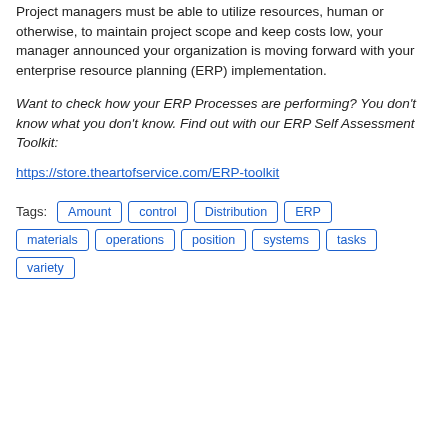Project managers must be able to utilize resources, human or otherwise, to maintain project scope and keep costs low, your manager announced your organization is moving forward with your enterprise resource planning (ERP) implementation.
Want to check how your ERP Processes are performing? You don't know what you don't know. Find out with our ERP Self Assessment Toolkit:
https://store.theartofservice.com/ERP-toolkit
Tags: Amount control Distribution ERP materials operations position systems tasks variety